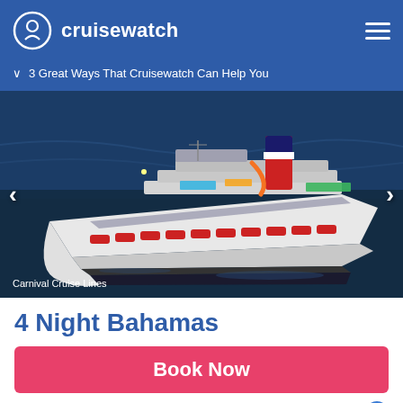cruisewatch
3 Great Ways That Cruisewatch Can Help You
[Figure (photo): Aerial view of a Carnival cruise ship (Carnival Sunshine) on dark blue ocean water, showing colorful deck amenities, red lifeboats, and red/blue/white funnel]
Carnival Cruise Lines
4 Night Bahamas
Book Now
Carnival Sunshine